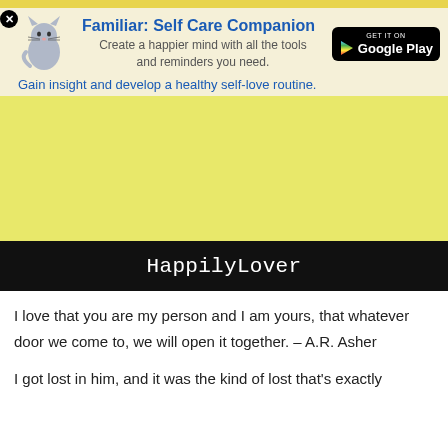[Figure (screenshot): Top decorative bar, yellow strip]
[Figure (screenshot): Ad banner for Familiar: Self Care Companion app with cat icon, Google Play button, tagline]
[Figure (photo): Yellow rectangle image block with black bar reading HappilyLover]
I love that you are my person and I am yours, that whatever door we come to, we will open it together. – A.R. Asher
I got lost in him, and it was the kind of lost that's exactly